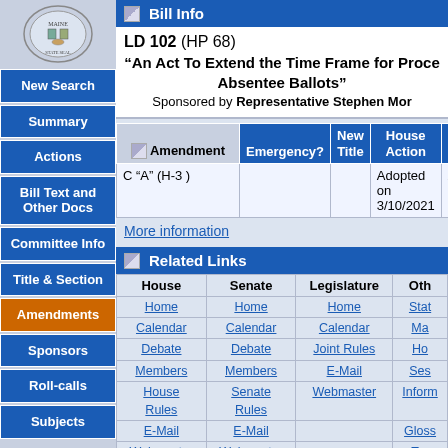[Figure (logo): Maine State Seal logo in top-left sidebar]
New Search
Summary
Actions
Bill Text and Other Docs
Committee Info
Title & Section
Amendments
Sponsors
Roll-calls
Subjects
Bill Info
LD 102 (HP 68)
"An Act To Extend the Time Frame for Processing Absentee Ballots"
Sponsored by Representative Stephen Mor
| Amendment | Emergency? | New Title | House Action | Senate Action (partial) |
| --- | --- | --- | --- | --- |
| C "A" (H-3 ) |  |  | Adopted on 3/10/2021 | Adopted on 3/1... |
More information
Related Links
| House | Senate | Legislature | Other |
| --- | --- | --- | --- |
| Home | Home | Home | Stat |
| Calendar | Calendar | Calendar | Ma |
| Debate | Debate | Joint Rules | Ho |
| Members | Members | E-Mail | Ses |
| House Rules | Senate Rules | Webmaster | Inform |
| E-Mail | E-Mail |  | Gloss |
| Webmaster | Webmaster |  | Ter |